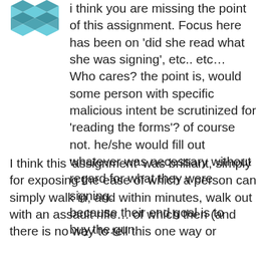[Figure (illustration): Teal/blue geometric snowflake-like avatar icon in the top left corner]
i think you are missing the point of this assignment. Focus here has been on ‘did she read what she was signing’, etc.. etc…
Who cares? the point is, would some person with specific malicious intent be scrutinized for ‘reading the forms’? of course not. he/she would fill out whatever was necessary without regard for what they were signing.
because their end goal is to buy.the.gun.
I think this ‘assignment’ was brilliant, simply for exposing the ease of which a person can simply walk in, and within minutes, walk out with an assault rifle… of which then (and there is no way to tell this one way or